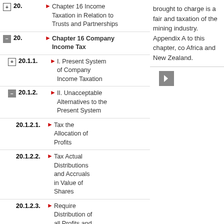20. Chapter 16 Company Income Tax
20.1.1. I. Present System of Company Income Taxation
20.1.2. II. Unacceptable Alternatives to the Present System
20.1.2.1. Tax the Allocation of Profits
20.1.2.2. Tax Actual Distributions and Accruals in Value of Shares
20.1.2.3. Require Distribution of all Profits and Tax These Distributions
20.1.2.4. Tax the Company and Exempt Dividends from Personal Income Tax
20.1.3. III. Split-Rate and Imputation Systems
brought to charge is a fair and taxation of the mining industry Appendix A to this chapter, co Africa and New Zealand.